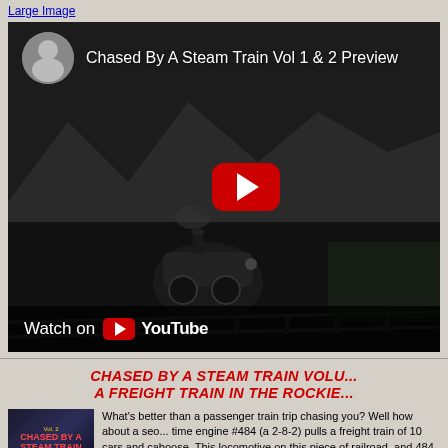Large Image
[Figure (screenshot): YouTube video embed: 'Chased By A Steam Train Vol 1 & 2 Preview' with play button and Watch on YouTube bar, showing a dark scene of a steam locomotive on tracks with mountains in background]
CHASED BY A STEAM TRAIN VOLU... / A FREIGHT TRAIN IN THE ROCKIE...
[Figure (photo): DVD cover for 'Chased By A Steam Train' showing red title text on dark background]
What's better than a passenger train trip chasing you? Well how about a seo... time engine #484 (a 2-8-2) pulls a freight train of 10 cars and caboose. This locomotive on this piece of railroad, and 484 puts on quite a show. More Det...